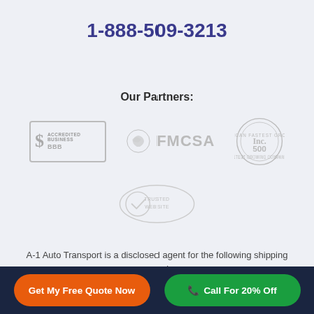1-888-509-3213
Our Partners:
[Figure (logo): BBB Accredited Business badge, FMCSA logo, Inc 500 badge, and a verified/trusted badge — shown in gray/muted tones]
A-1 Auto Transport is a disclosed agent for the following shipping companies:
Get My Free Quote Now | Call For 20% Off